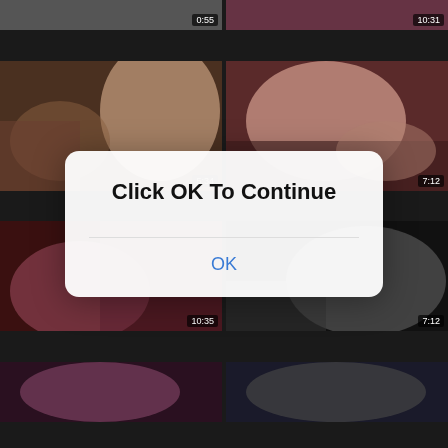[Figure (screenshot): Video thumbnail grid showing adult video website with 'Click OK To Continue' modal overlay dialog. Grid contains 6 video thumbnails with titles and durations. Modal shows 'Click OK To Continue' text and 'OK' button.]
Click OK To Continue
OK